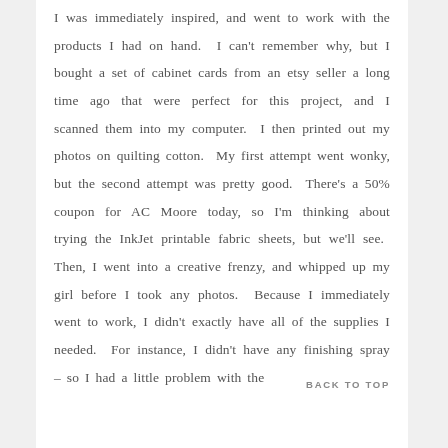I was immediately inspired, and went to work with the products I had on hand.  I can't remember why, but I bought a set of cabinet cards from an etsy seller a long time ago that were perfect for this project, and I scanned them into my computer.  I then printed out my photos on quilting cotton.  My first attempt went wonky, but the second attempt was pretty good.  There's a 50% coupon for AC Moore today, so I'm thinking about trying the InkJet printable fabric sheets, but we'll see.  Then, I went into a creative frenzy, and whipped up my girl before I took any photos.  Because I immediately went to work, I didn't exactly have all of the supplies I needed.  For instance, I didn't have any finishing spray – so I had a little problem with the
BACK TO TOP